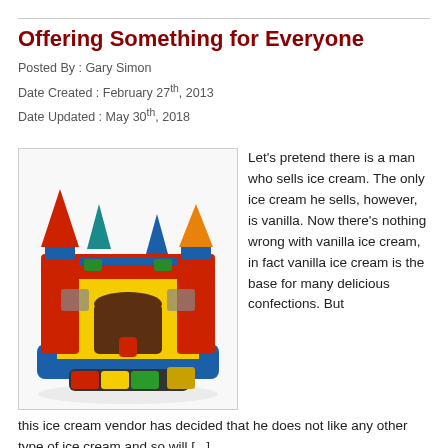Offering Something for Everyone
Posted By : Gary Simon
Date Created : February 27th, 2013
Date Updated : May 30th, 2018
[Figure (photo): Colorful inflatable bounce castle with red, blue, yellow colors and cone-shaped turrets]
Let's pretend there is a man who sells ice cream. The only ice cream he sells, however, is vanilla. Now there's nothing wrong with vanilla ice cream, in fact vanilla ice cream is the base for many delicious confections. But this ice cream vendor has decided that he does not like any other type of ice cream and so will [...]